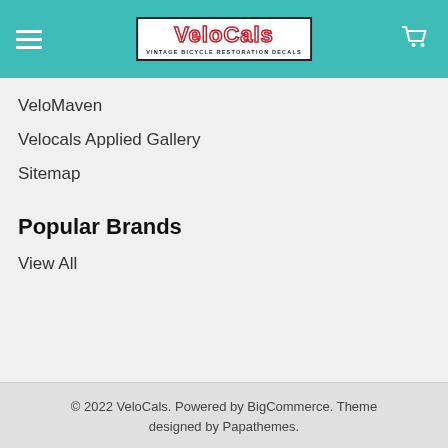[Figure (logo): VeloCals logo with teal header background, hamburger menu icon on left, VeloCals vintage bicycle restoration decals logo in center (white text with red border on white box), and shopping cart icon on right]
VeloMaven
Velocals Applied Gallery
Sitemap
Popular Brands
View All
© 2022 VeloCals. Powered by BigCommerce. Theme designed by Papathemes.